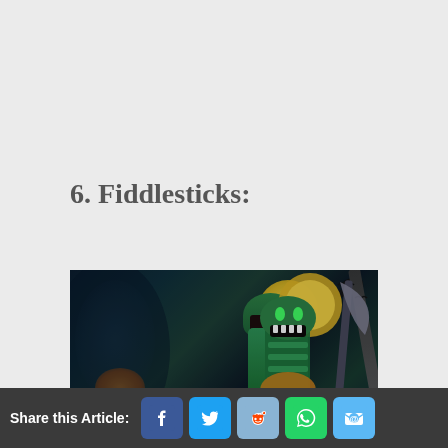6. Fiddlesticks:
[Figure (illustration): Fantasy illustration of Fiddlesticks character from League of Legends — a dark scarecrow-like creature in green armor holding a scythe, silhouetted against a large yellow moon with crows flying in a dark, moody background]
Share this Article: [Facebook] [Twitter] [Reddit] [WhatsApp] [Email]